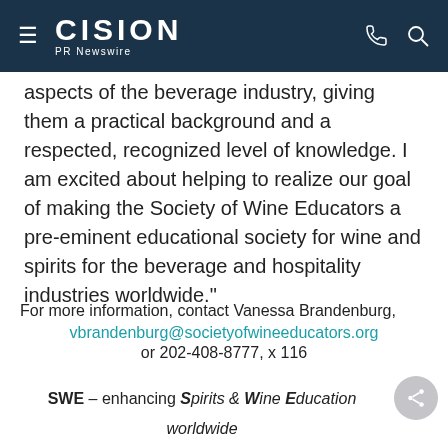CISION PR Newswire
aspects of the beverage industry, giving them a practical background and a respected, recognized level of knowledge. I am excited about helping to realize our goal of making the Society of Wine Educators a pre-eminent educational society for wine and spirits for the beverage and hospitality industries worldwide."
For more information, contact Vanessa Brandenburg, vbrandenburg@societyofwineeducators.org or 202-408-8777, x 116
SWE – enhancing Spirits & Wine Education worldwide